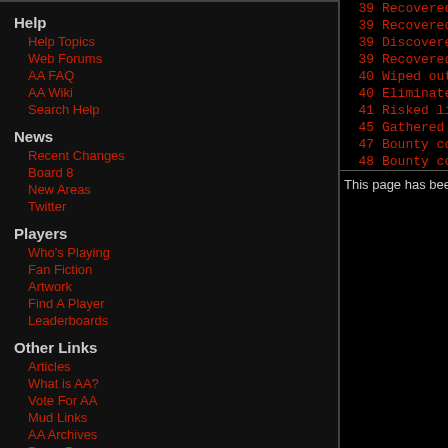Help
Help Topics
Web Forums
AA FAQ
AA Wiki
Search Help
News
Recent Changes
Board 8
New Areas
Twitter
Players
Who's Playing
Fan Fiction
Artwork
Find A Player
Leaderboards
Other Links
Articles
What is AA?
Vote For AA
Mud Links
AA Archives
Press Room
| Level | Description |
| --- | --- |
| 39 | Recovered a stolen family hei... |
| 39 | Recovered a stolen painting o... |
| 39 | Discovered who was behind the... |
| 39 | Recovered a very important bo... |
| 40 | Wiped out a den of thieves an... |
| 40 | Eliminated the den of thieves... |
| 41 | Risked life and limb to rescu... |
| 45 | Gathered a few herbs Balk nee... |
| 47 | Bounty collected: Kale the hi... |
| 48 | Bounty collected: Azar the ro... |
This page has been referenced 147 times since last bo...